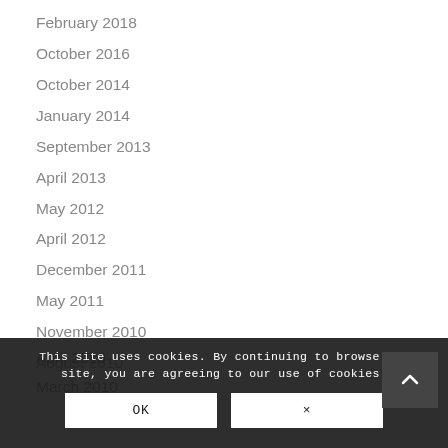February 2018
October 2016
October 2014
January 2014
September 2013
April 2013
May 2012
April 2012
December 2011
May 2011
November 2010
August 2010
April 2010
March 2010
This site uses cookies. By continuing to browse the site, you are agreeing to our use of cookies.
OK
×